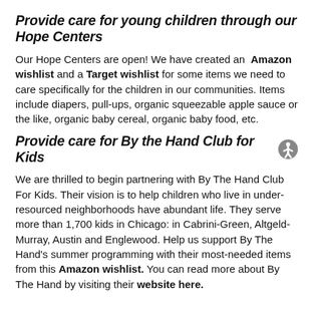Provide care for young children through our Hope Centers
Our Hope Centers are open! We have created an Amazon wishlist and a Target wishlist for some items we need to care specifically for the children in our communities. Items include diapers, pull-ups, organic squeezable apple sauce or the like, organic baby cereal, organic baby food, etc.
Provide care for By the Hand Club for Kids
We are thrilled to begin partnering with By The Hand Club For Kids. Their vision is to help children who live in under-resourced neighborhoods have abundant life. They serve more than 1,700 kids in Chicago: in Cabrini-Green, Altgeld-Murray, Austin and Englewood. Help us support By The Hand's summer programming with their most-needed items from this Amazon wishlist. You can read more about By The Hand by visiting their website here.